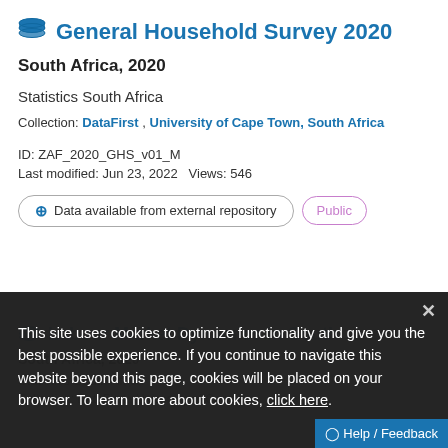General Household Survey 2020
South Africa, 2020
Statistics South Africa
Collection: DataFirst , University of Cape Town, South Africa
ID: ZAF_2020_GHS_v01_M
Last modified: Jun 23, 2022  Views: 546
Data available from external repository   Public
This site uses cookies to optimize functionality and give you the best possible experience. If you continue to navigate this website beyond this page, cookies will be placed on your browser. To learn more about cookies, click here.